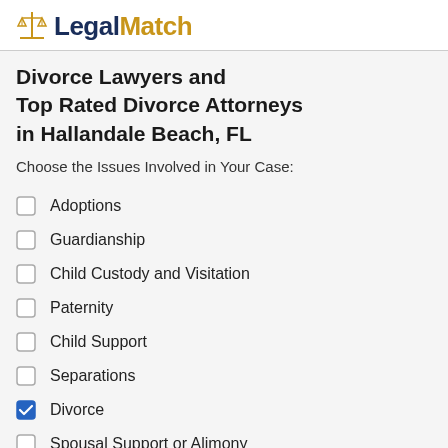LegalMatch
Divorce Lawyers and Top Rated Divorce Attorneys in Hallandale Beach, FL
Choose the Issues Involved in Your Case:
Adoptions
Guardianship
Child Custody and Visitation
Paternity
Child Support
Separations
Divorce
Spousal Support or Alimony